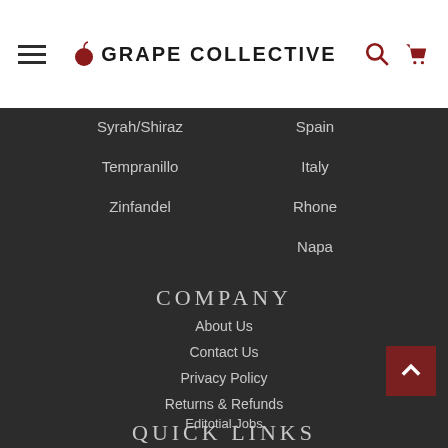GRAPE COLLECTIVE
Syrah/Shiraz
Tempranillo
Zinfandel
Spain
Italy
Rhone
Napa
COMPANY
About Us
Contact Us
Privacy Policy
Returns & Refunds
Editotial Jobs
Frequently Asked Questions
QUICK LINKS